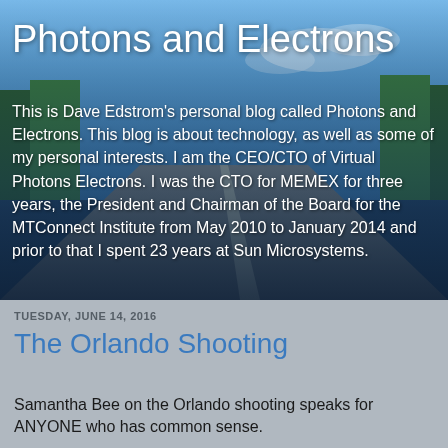[Figure (photo): Background image of a road with blue sky and trees, blurred, used as header background for a blog.]
Photons and Electrons
This is Dave Edstrom's personal blog called Photons and Electrons. This blog is about technology, as well as some of my personal interests. I am the CEO/CTO of Virtual Photons Electrons. I was the CTO for MEMEX for three years, the President and Chairman of the Board for the MTConnect Institute from May 2010 to January 2014 and prior to that I spent 23 years at Sun Microsystems.
TUESDAY, JUNE 14, 2016
The Orlando Shooting
Samantha Bee on the Orlando shooting speaks for ANYONE who has common sense.